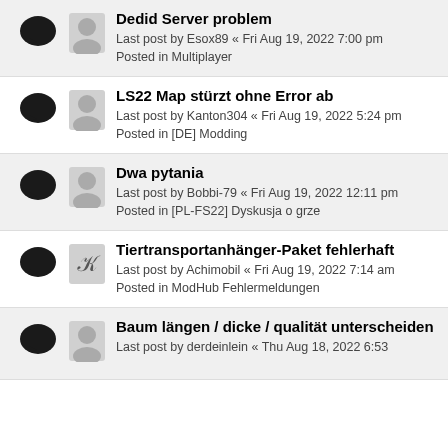Dedid Server problem
Last post by Esox89 « Fri Aug 19, 2022 7:00 pm
Posted in Multiplayer
LS22 Map stürzt ohne Error ab
Last post by Kanton304 « Fri Aug 19, 2022 5:24 pm
Posted in [DE] Modding
Dwa pytania
Last post by Bobbi-79 « Fri Aug 19, 2022 12:11 pm
Posted in [PL-FS22] Dyskusja o grze
Tiertransportanhänger-Paket fehlerhaft
Last post by Achimobil « Fri Aug 19, 2022 7:14 am
Posted in ModHub Fehlermeldungen
Baum längen / dicke / qualität unterscheiden
Last post by derdeinlein « Thu Aug 18, 2022 6:53